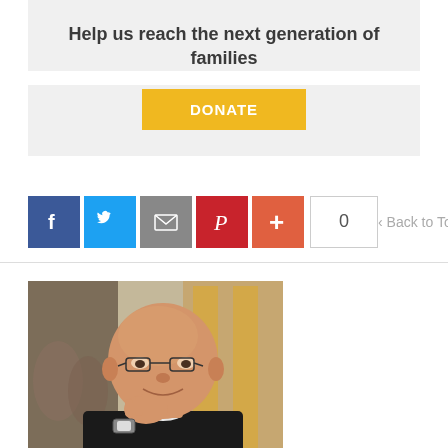Help us reach the next generation of families
DONATE
[Figure (other): Social media share buttons: Facebook, Twitter, Email, Pinterest, Plus, count 0, and Back to Top link]
[Figure (photo): Photo of a middle-aged bald man wearing glasses and a black shirt, resting his chin on his hand, smiling slightly, in a restaurant setting]